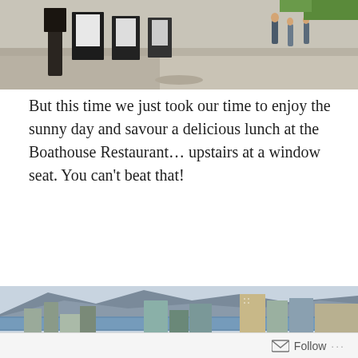[Figure (photo): Outdoor scene showing a plaza/waterfront area with people walking, kiosks/stands, and sunshine. Partial top crop.]
But this time we just took our time to enjoy the sunny day and savour a delicious lunch at the Boathouse Restaurant… upstairs at a window seat. You can't beat that!
[Figure (photo): Aerial view of Vancouver city skyline with tall glass and concrete high-rise buildings in the foreground and a bay/harbour with mountains in the background.]
Follow